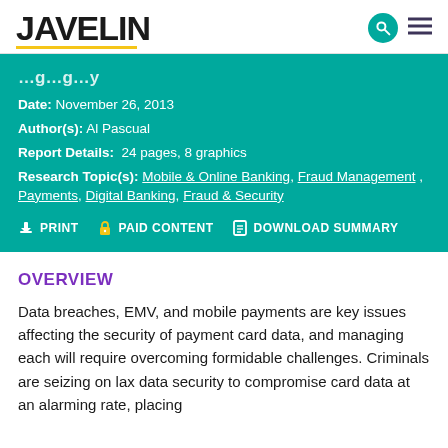JAVELIN
Date: November 26, 2013
Author(s): Al Pascual
Report Details: 24 pages, 8 graphics
Research Topic(s): Mobile & Online Banking, Fraud Management, Payments, Digital Banking, Fraud & Security
PRINT  PAID CONTENT  DOWNLOAD SUMMARY
OVERVIEW
Data breaches, EMV, and mobile payments are key issues affecting the security of payment card data, and managing each will require overcoming formidable challenges. Criminals are seizing on lax data security to compromise card data at an alarming rate, placing